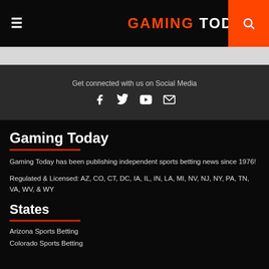GAMING TODAY
Get connected with us on Social Media
[Figure (other): Social media icons: Facebook, Twitter, YouTube, Email]
Gaming Today
Gaming Today has been publishing independent sports betting news since 1976!
Regulated & Licensed: AZ, CO, CT, DC, IA, IL, IN, LA, MI, NV, NJ, NY, PA, TN, VA, WV, & WY
States
Arizona Sports Betting
Colorado Sports Betting